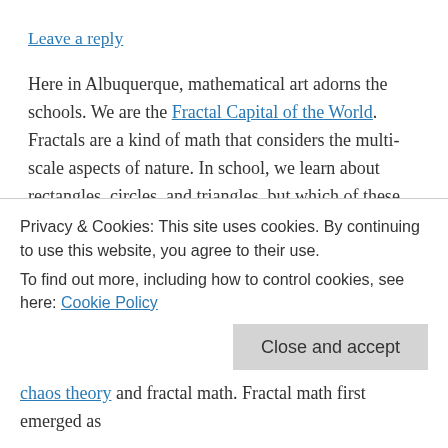Leave a reply
Here in Albuquerque, mathematical art adorns the schools. We are the Fractal Capital of the World. Fractals are a kind of math that considers the multi-scale aspects of nature. In school, we learn about rectangles, circles, and triangles, but which of these shapes best represents the coastline of Great Britain?
And even if learning fractal math isn't your path, you probably appreciate what others have done with it.  This documentary describes how lava in Star Wars was simulated
Privacy & Cookies: This site uses cookies. By continuing to use this website, you agree to their use.
To find out more, including how to control cookies, see here: Cookie Policy
chaos theory and fractal math. Fractal math first emerged as